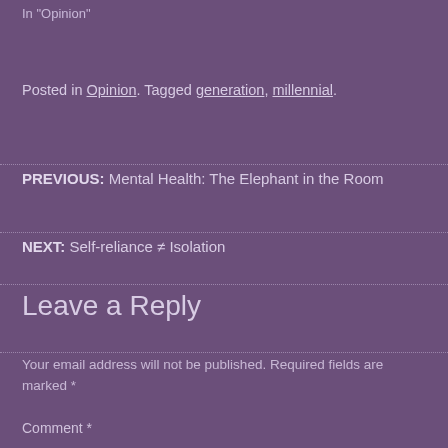In "Opinion"
Posted in Opinion. Tagged generation, millennial.
PREVIOUS: Mental Health: The Elephant in the Room
NEXT: Self-reliance ≠ Isolation
Leave a Reply
Your email address will not be published. Required fields are marked *
Comment *